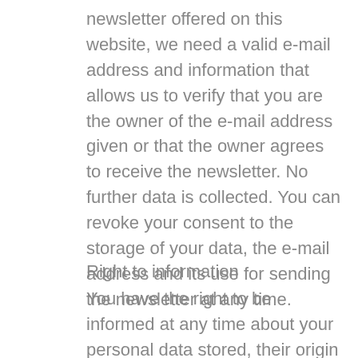newsletter offered on this website, we need a valid e-mail address and information that allows us to verify that you are the owner of the e-mail address given or that the owner agrees to receive the newsletter. No further data is collected. You can revoke your consent to the storage of your data, the e-mail address and its use for sending the newsletter at any time.
Right to information
You have the right to be informed at any time about your personal data stored, their origin and recipient as well as the purpose of storage. Information about the stored data is provided